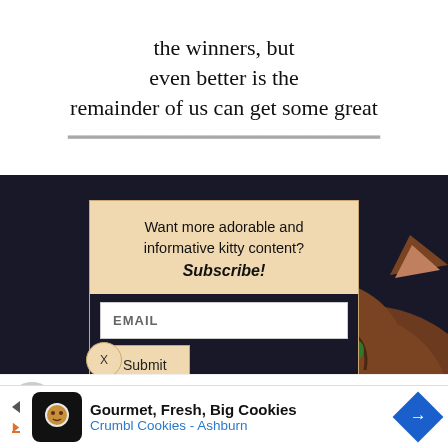the winners, but even better is the remainder of us can get some great
[Figure (screenshot): Subscribe modal overlay on a dark background with a cat photo. Modal has beige background with text 'Want more adorable and informative kitty content? Subscribe!' followed by an email input field and Submit button. A close X button is shown below. Background shows a dark navy color with a brown tabby cat with green eyes in lower right area.]
Want more adorable and informative kitty content? Subscribe!
EMAIL
Submit
Leyla Morgan Wilde (Cat Wisdom 101)
Gourmet, Fresh, Big Cookies Crumbl Cookies - Ashburn